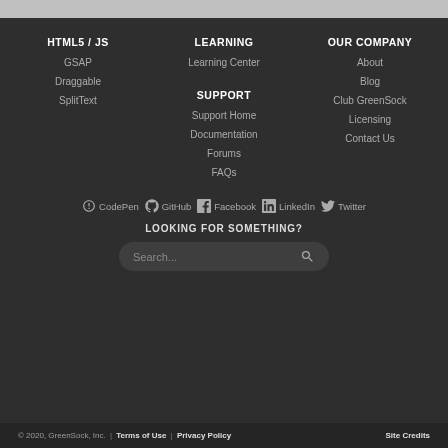HTML5 / JS
GSAP
Draggable
SplitText
LEARNING
Learning Center
SUPPORT
Support Home
Documentation
Forums
FAQs
OUR COMPANY
About
Blog
Club GreenSock
Licensing
Contact Us
CodePen  GitHub  Facebook  LinkedIn  Twitter
LOOKING FOR SOMETHING?
Search...
© 2020, GreenSock, Inc. | Terms of Use | Privacy Policy    Site Credits